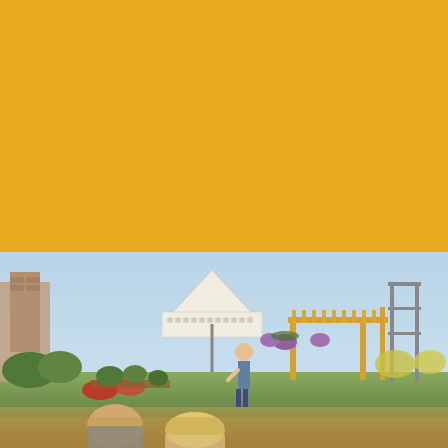MULCH
[Figure (photo): Outdoor garden center or nursery scene showing a white event tent with a logo, a wooden pergola structure, colorful hanging flower baskets and potted plants, a person standing and speaking to a small audience, with people in the foreground viewed from behind. Brick chimney visible on the left, garden trellises on the right.]